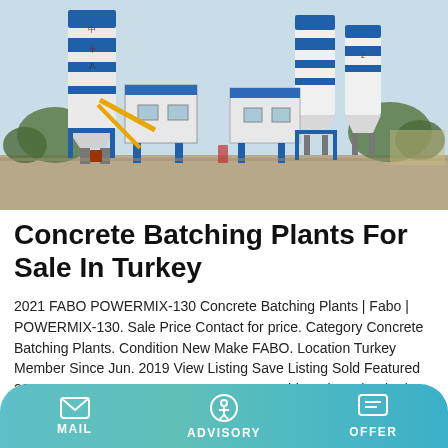[Figure (photo): Outdoor concrete batching plant facility with large blue and white cylindrical silos, yellow conveyor arms, and prefabricated control buildings. Two main plant setups visible side by side on a concrete yard with trees in background.]
Concrete Batching Plants For Sale In Turkey
2021 FABO POWERMIX-130 Concrete Batching Plants | Fabo | POWERMIX-130. Sale Price Contact for price. Category Concrete Batching Plants. Condition New Make FABO. Location Turkey Member Since Jun. 2019 View Listing Save Listing Sold Featured 2021 FABO POWERMIX 100 Concrete Batching Plants | Fabo | PowerMix 100.
MAIL   ADVISORY   OFFER